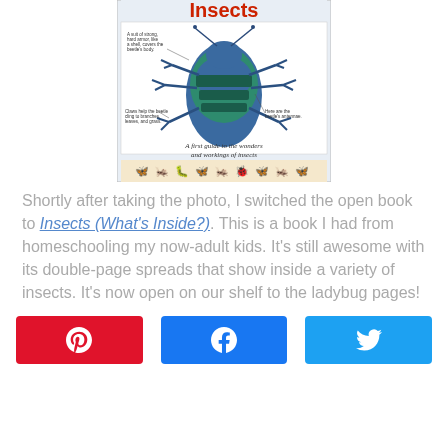[Figure (illustration): Book cover of 'Insects (What's Inside?)' showing a blue-teal beetle with labeled anatomy and small insect border illustrations. Subtitle: 'A first guide to the wonders and workings of insects']
Shortly after taking the photo, I switched the open book to Insects (What's Inside?). This is a book I had from homeschooling my now-adult kids. It's still awesome with its double-page spreads that show inside a variety of insects. It's now open on our shelf to the ladybug pages!